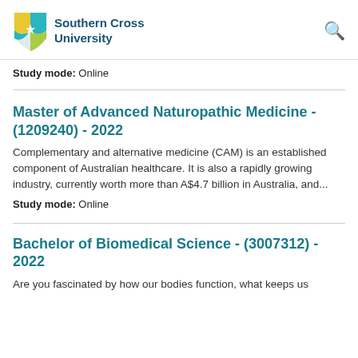[Figure (logo): Southern Cross University logo with shield and text]
Study mode: Online
Master of Advanced Naturopathic Medicine - (1209240) - 2022
Complementary and alternative medicine (CAM) is an established component of Australian healthcare. It is also a rapidly growing industry, currently worth more than A$4.7 billion in Australia, and...
Study mode: Online
Bachelor of Biomedical Science - (3007312) - 2022
Are you fascinated by how our bodies function, what keeps us